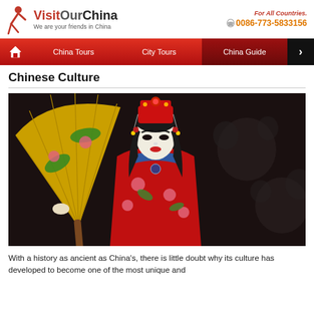Visit Our China — We are your friends in China | For All Countries. 0086-773-5833156
China Tours | City Tours | China Guide
Chinese Culture
[Figure (photo): Chinese opera performer in traditional red embroidered costume and elaborate headdress, holding a large decorative fan with floral designs, against a dark background with rose motifs.]
With a history as ancient as China's, there is little doubt why its culture has developed to become one of the most unique and